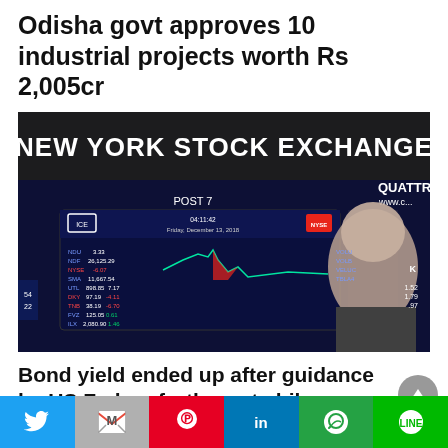Odisha govt approves 10 industrial projects worth Rs 2,005cr
[Figure (photo): Photo of the New York Stock Exchange trading floor display screen showing stock ticker data and a chart, with a blurred trader in the foreground. The screen shows POST 7, Friday December 13, 2018, with various market indices and values. QUATTRO text and www.c visible on right side.]
Bond yield ended up after guidance by US Fed on further rate hike
[Figure (other): Social media sharing bar with Twitter, Gmail, Pinterest, LinkedIn, WhatsApp, and LINE icons]